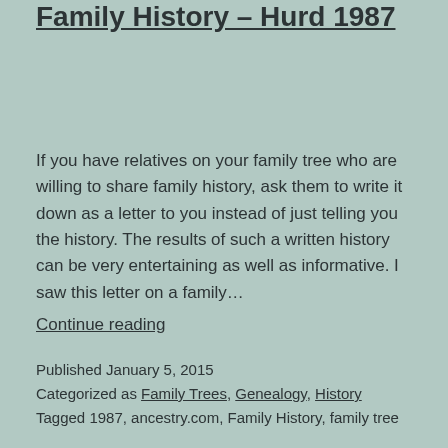Family History – Hurd 1987
If you have relatives on your family tree who are willing to share family history, ask them to write it down as a letter to you instead of just telling you the history. The results of such a written history can be very entertaining as well as informative. I saw this letter on a family…
Continue reading
Published January 5, 2015
Categorized as Family Trees, Genealogy, History
Tagged 1987, ancestry.com, Family History, family tree